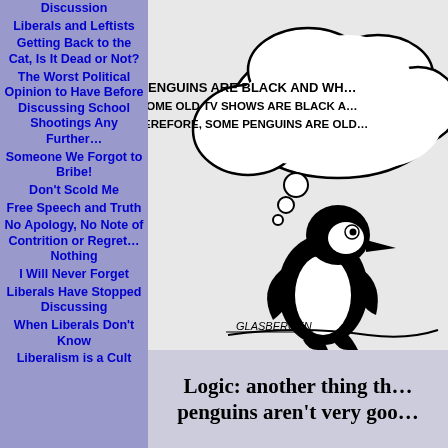Discussion
Liberals and Leftists
Getting Back to the Cat, Is It Dead or Not?
The Worst Political Opinion to Have Before Discussing School Shootings Any Further…
Someone We Forgot to Bribe!
Don't Scold Me
Free Speech and Truth
No Apology, No Note of Contrition or Regret…Nothing
I Will Never Forget
Liberals Have Stopped Discussing
When Liberals Don't Know
Liberalism is a Cult
[Figure (illustration): Glasbergen cartoon of a penguin with a thought bubble reading: PENGUINS ARE BLACK AND WHITE. SOME OLD TV SHOWS ARE BLACK AND WHITE. THEREFORE, SOME PENGUINS ARE OLD TV SHOWS.]
Logic: another thing that penguins aren't very good at